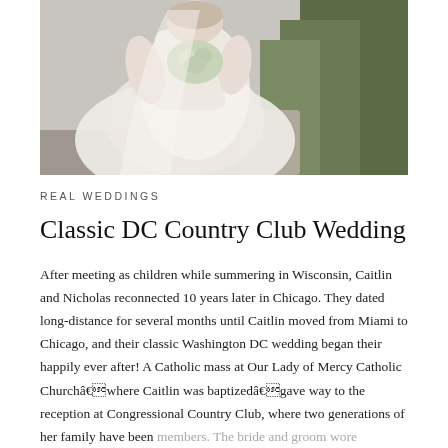[Figure (photo): Bride in a white tulle gown holding a bouquet, seated on a stone bench outdoors with greenery in the background]
REAL WEDDINGS
Classic DC Country Club Wedding
After meeting as children while summering in Wisconsin, Caitlin and Nicholas reconnected 10 years later in Chicago. They dated long-distance for several months until Caitlin moved from Miami to Chicago, and their classic Washington DC wedding began their happily ever after! A Catholic mass at Our Lady of Mercy Catholic Churchâ€”where Caitlin was baptizedâ€”gave way to the reception at Congressional Country Club, where two generations of her family have been members. The bride and groom wore heirlooms passed down from grandparents on both sidesâ€”Caitlin wore her grandmother’s pearl earrings to complement her stunningÂ Romona Kaveza gown, and Nick… her grandfatherâ€™s cufflinks…